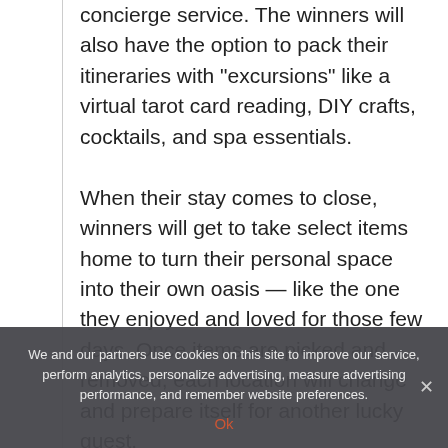concierge service. The winners will also have the option to pack their itineraries with "excursions" like a virtual tarot card reading, DIY crafts, cocktails, and spa essentials.

When their stay comes to close, winners will get to take select items home to turn their personal space into their own oasis — like the one they enjoyed and loved for those few days. Once items are picked and removed, each location will change and prepare itself for another lucky guest.
We and our partners use cookies on this site to improve our service, perform analytics, personalize advertising, measure advertising performance, and remember website preferences.
Ok